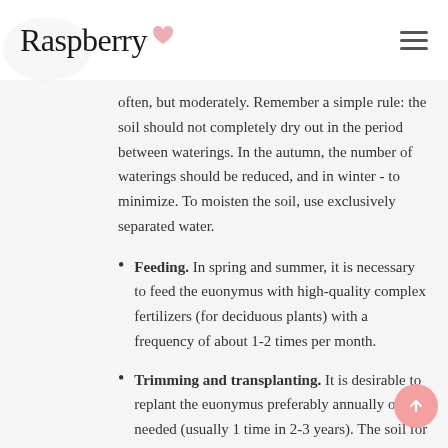Raspberry
often, but moderately. Remember a simple rule: the soil should not completely dry out in the period between waterings. In the autumn, the number of waterings should be reduced, and in winter - to minimize. To moisten the soil, use exclusively separated water.
Feeding. In spring and summer, it is necessary to feed the euonymus with high-quality complex fertilizers (for deciduous plants) with a frequency of about 1-2 times per month.
Trimming and transplanting. It is desirable to replant the euonymus preferably annually or as needed (usually 1 time in 2-3 years). The soil for transplantation should